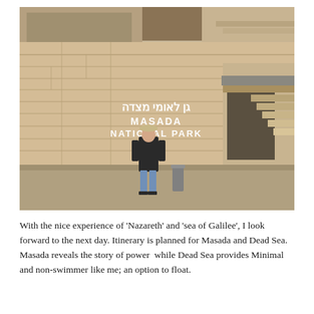[Figure (photo): A woman in a dark coat and light hat stands in front of the Masada National Park entrance. The entrance wall is made of large limestone blocks. Hebrew text reads 'גן לאומי מצדה' and below it 'MASADA NATIONAL PARK' in white letters. Stairs and a doorway are visible to the right. A grey trash bin is nearby.]
With the nice experience of 'Nazareth' and 'sea of Galilee', I look forward to the next day. Itinerary is planned for Masada and Dead Sea. Masada reveals the story of power  while Dead Sea provides Minimal and non-swimmer like me; an option to float.